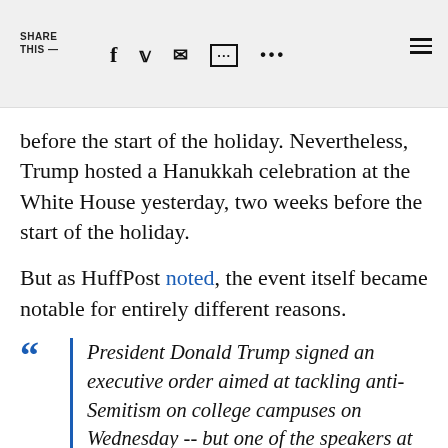SHARE THIS —
before the start of the holiday. Nevertheless, Trump hosted a Hanukkah celebration at the White House yesterday, two weeks before the start of the holiday.
But as HuffPost noted, the event itself became notable for entirely different reasons.
President Donald Trump signed an executive order aimed at tackling anti-Semitism on college campuses on Wednesday -- but one of the speakers at the event has said that Jews are going to hell.Trump signed the order at a White House Hanukkah reception, with several prominent Jewish Americans in attendance,